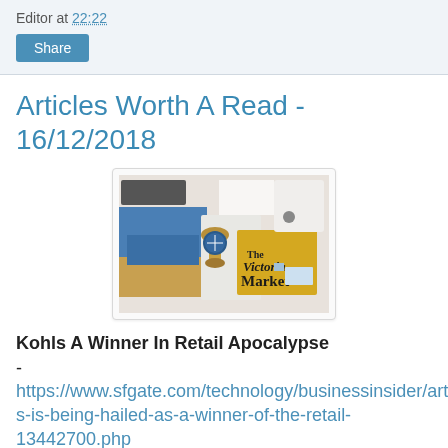Editor at 22:22
Share
Articles Worth A Read - 16/12/2018
[Figure (photo): Desk scene showing a Victoria Market book/bag, compass, blue landscape photo, and various items on a white surface]
Kohls A Winner In Retail Apocalypse - https://www.sfgate.com/technology/businessinsider/article/Kohl-s-is-being-hailed-as-a-winner-of-the-retail-13442700.php
50 Big Ideas For 2019 - How Australia Will Change - https://www.linkedin.com/pulse/50-big-ideas-2019